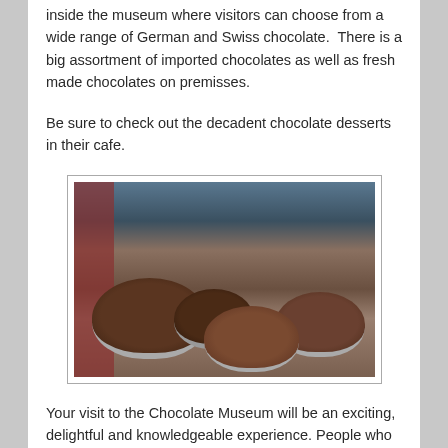inside the museum where visitors can choose from a wide range of German and Swiss chocolate.  There is a big assortment of imported chocolates as well as fresh made chocolates on premisses.
Be sure to check out the decadent chocolate desserts in their cafe.
[Figure (photo): Photo of multiple chocolate cakes and desserts displayed on stands in what appears to be a cafe or museum shop]
Your visit to the Chocolate Museum will be an exciting, delightful and knowledgeable experience. People who love to travel should not miss the opportunity to book their holiday on Europeanbarging's Rhine river cruise. Do not